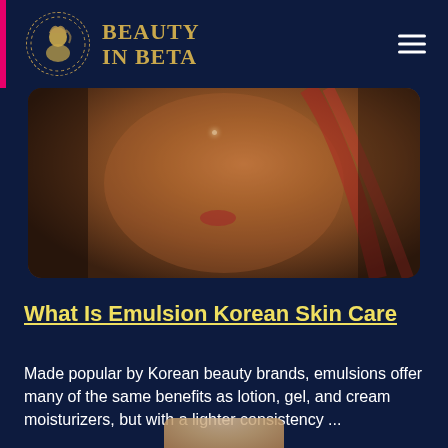BEAUTY IN BETA
[Figure (photo): Close-up photo of a woman's face in warm amber lighting, touching her face/neck, with red hair highlights visible]
What Is Emulsion Korean Skin Care
Made popular by Korean beauty brands, emulsions offer many of the same benefits as lotion, gel, and cream moisturizers, but with a lighter consistency ...
[Figure (photo): Partially visible bottom image, cropped]